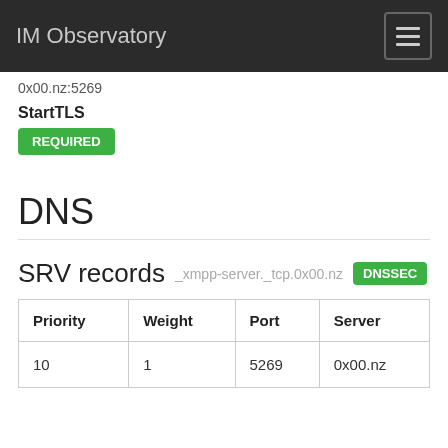IM Observatory
0x00.nz:5269
StartTLS
REQUIRED
DNS
SRV records _xmpp-server._tcp.0x00.nz DNSSEC
| Priority | Weight | Port | Server |
| --- | --- | --- | --- |
| 10 | 1 | 5269 | 0x00.nz |